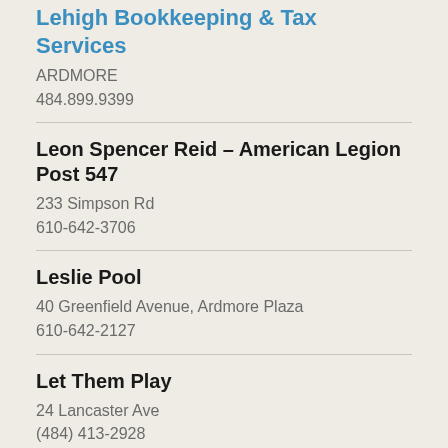Lehigh Bookkeeping & Tax Services
ARDMORE
484.899.9399
Leon Spencer Reid – American Legion Post 547
233 Simpson Rd
610-642-3706
Leslie Pool
40 Greenfield Avenue, Ardmore Plaza
610-642-2127
Let Them Play
24 Lancaster Ave
(484) 413-2928